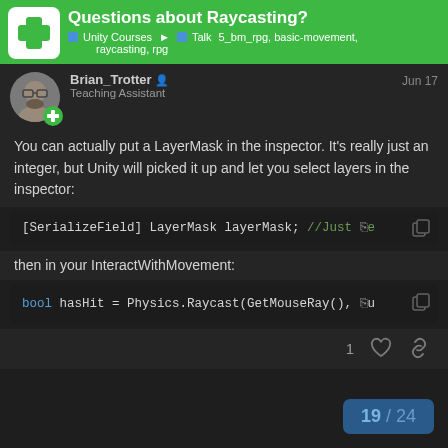Questions about Raycasting? | Unity Courses > Talk | 5_bm_rpg, basic-movement, raycasting, rpg
Brian_Trotter  Teaching Assistant  Jun 17
You can actually put a LayerMask in the inspector. It's really just an integer, but Unity will picked it up and let you select layers in the inspector:
then in your InteractWithMovement:
19 / 24